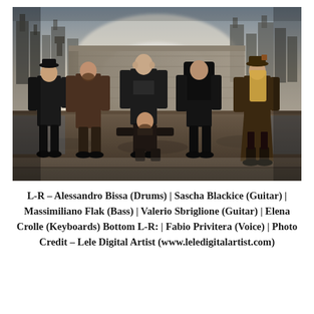[Figure (photo): Band photo of six members standing and one crouching in front of a dramatic post-apocalyptic cityscape background. Members are dressed in dark, steampunk-style clothing. Left to right: a man in black with a dark hat, a man in a long brown coat, a tall bald man in the center-back, a man crouching in front center, a person with long hair in dark leather, and a woman with a hat on the far right.]
L-R – Alessandro Bissa (Drums) | Sascha Blackice (Guitar) | Massimiliano Flak (Bass) | Valerio Sbriglione (Guitar) | Elena Crolle (Keyboards) Bottom L-R: | Fabio Privitera (Voice) | Photo Credit – Lele Digital Artist (www.leledigitalartist.com)